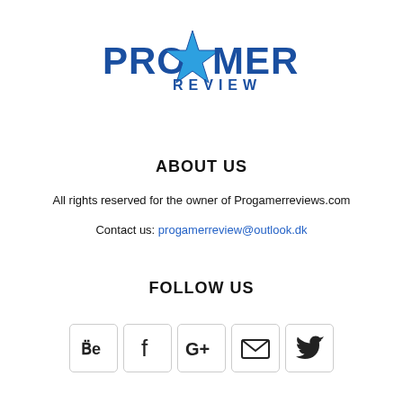[Figure (logo): ProGamer Review logo with blue text and a star icon replacing the letter A]
ABOUT US
All rights reserved for the owner of Progamerreviews.com
Contact us: progamerreview@outlook.dk
FOLLOW US
[Figure (other): Row of 5 social media icon boxes: Behance, Facebook, Google+, Email, Twitter]